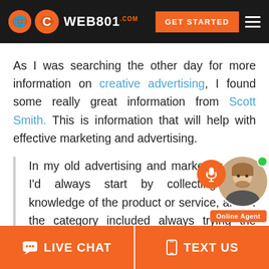WEB801.COM — GET STARTED
As I was searching the other day for more information on creative advertising, I found some really great information from Scott Smith. This is information that will help with effective marketing and advertising.
In my old advertising and marketing days, I'd always start by collecting deep knowledge of the product or service, and of the category included always trying the product for myself, getting someone I know and trust to try it
LIVE CHAT   TEXT US